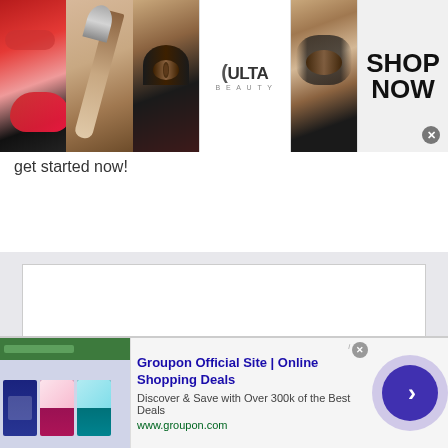[Figure (screenshot): Ulta Beauty banner advertisement showing makeup images (lips with red lipstick, makeup brush, eye with dramatic makeup, Ulta Beauty logo, close-up eyes with makeup) and a SHOP NOW button with close X]
get started now!
[Figure (screenshot): Gray section with white article card containing partial text 'Are you trapped in the office working']
[Figure (screenshot): Groupon advertisement banner: 'Groupon Official Site | Online Shopping Deals' - Discover & Save with Over 300k of the Best Deals - www.groupon.com, with thumbnail showing Groupon website, and a purple arrow circle button]